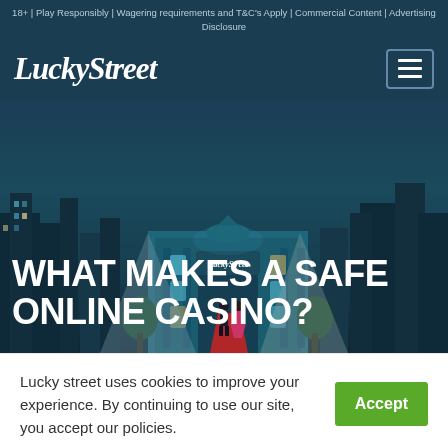18+ | Play Responsibly | Wagering requirements and T&C's Apply | Commercial Content | Advertising Disclosure
[Figure (logo): LuckyStreet logo in italic bold white font]
[Figure (illustration): Illustrated city background with LuckyStreet casino building, figures on red carpet, city skyline at night in teal/dark blue tones]
WHAT MAKES A SAFE ONLINE CASINO?
Lucky street uses cookies to improve your experience. By continuing to use our site, you accept our policies.
Read More